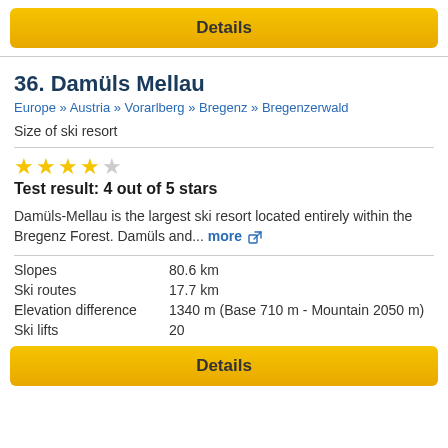Details
36. Damüls Mellau
Europe » Austria » Vorarlberg » Bregenz » Bregenzerwald
Size of ski resort
Test result: 4 out of 5 stars
Damüls-Mellau is the largest ski resort located entirely within the Bregenz Forest. Damüls and... more
|  |  |
| --- | --- |
| Slopes | 80.6 km |
| Ski routes | 17.7 km |
| Elevation difference | 1340 m (Base 710 m - Mountain 2050 m) |
| Ski lifts | 20 |
Details